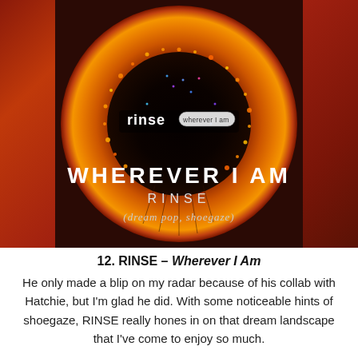[Figure (illustration): Album cover for 'Wherever I Am' by RINSE. Red/orange gradient background with a dark circular ring-like shape made of fiery textured particles. The ring glows with orange, yellow and scattered blue/purple specks. Text on the album cover reads 'rinse' in stylized lowercase letters with 'wherever I am' in a small label. Below the album art, overlaid on the red background: 'WHEREVER I AM' in large bold white uppercase letters, 'RINSE' in spaced uppercase letters, and '(dream pop, shoegaze)' in italic text.]
12. RINSE – Wherever I Am
He only made a blip on my radar because of his collab with Hatchie, but I'm glad he did. With some noticeable hints of shoegaze, RINSE really hones in on that dream landscape that I've come to enjoy so much.